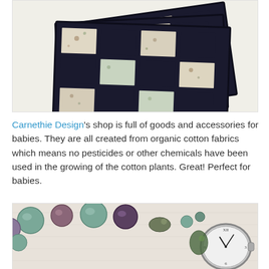[Figure (photo): Photo of patchwork quilts with a checkerboard pattern of dark navy/black squares and floral-patterned squares, arranged on a white background.]
Carnethie Design's shop is full of goods and accessories for babies. They are all created from organic cotton fabrics which means no pesticides or other chemicals have been used in the growing of the cotton plants. Great! Perfect for babies.
[Figure (photo): Close-up photo of a beaded bracelet watch with purple, green and teal beads and a small oval watch face showing Roman numerals.]